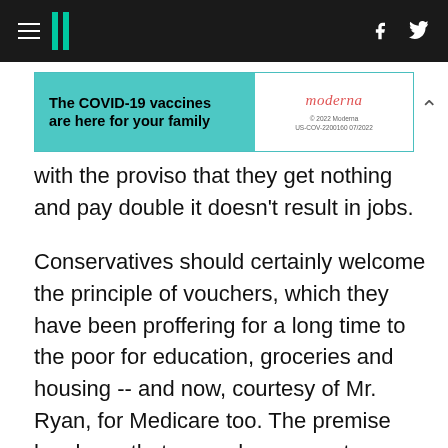HuffPost navigation header with hamburger menu, logo, Facebook and Twitter icons
[Figure (other): Moderna COVID-19 vaccine advertisement banner: 'The COVID-19 vaccines are here for your family' with Moderna logo and fine print '© 2022 Moderna US-COV-2200160 07/2022']
with the proviso that they get nothing and pay double it doesn't result in jobs.
Conservatives should certainly welcome the principle of vouchers, which they have been proffering for a long time to the poor for education, groceries and housing -- and now, courtesy of Mr. Ryan, for Medicare too. The premise has been that a voucher prevents "irresponsible behavior" by those being helped, like buying drugs instead of groceries or a golf caddy instead of private schooling for the kids.